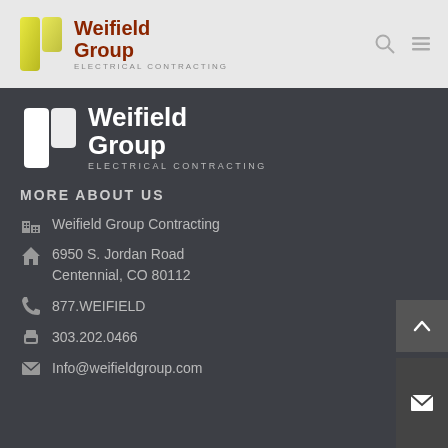Weifield Group ELECTRICAL CONTRACTING
[Figure (logo): Weifield Group Electrical Contracting logo - white version on dark background with stylized W icon]
MORE ABOUT US
Weifield Group Contracting
6950 S. Jordan Road Centennial, CO 80112
877.WEIFIELD
303.202.0466
Info@weifieldgroup.com